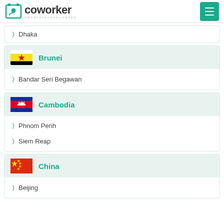coworker #WORKSPACEDELIVERED
Dhaka
Brunei
Bandar Seri Begawan
Cambodia
Phnom Penh
Siem Reap
China
Beijing